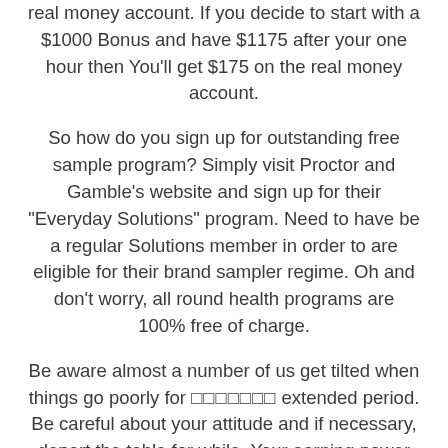real money account. If you decide to start with a $1000 Bonus and have $1175 after your one hour then You'll get $175 on the real money account.
So how do you sign up for outstanding free sample program? Simply visit Proctor and Gamble's website and sign up for their "Everyday Solutions" program. Need to have be a regular Solutions member in order to are eligible for their brand sampler regime. Oh and don't worry, all round health programs are 100% free of charge.
Be aware almost a number of us get tilted when things go poorly for [extended period. Be careful about your attitude and if necessary, depart the table for while. Your earning power on Heads Up tournaments is considerably below at the full table. But, the games go